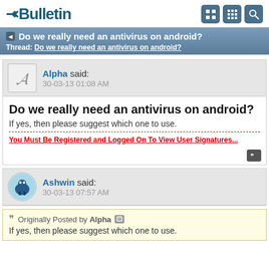vBulletin
Do we really need an antivirus on android?
Thread: Do we really need an antivirus on android?
Alpha said:
30-03-13 01:08 AM
Do we really need an antivirus on android?
If yes, then please suggest which one to use.
You Must Be Registered and Logged On To View User Signatures...
Ashwin said:
30-03-13 07:57 AM
Originally Posted by Alpha
If yes, then please suggest which one to use.